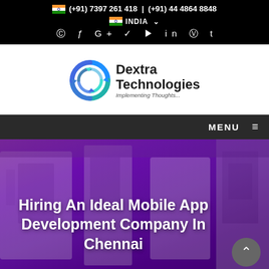(+91) 7397 261 418 | (+91) 44 4864 8848
INDIA
[Figure (logo): Dextra Technologies logo with circular arrow icon and tagline 'Implementing Thoughts...']
MENU
Hiring An Ideal Mobile App Development Company In Chennai